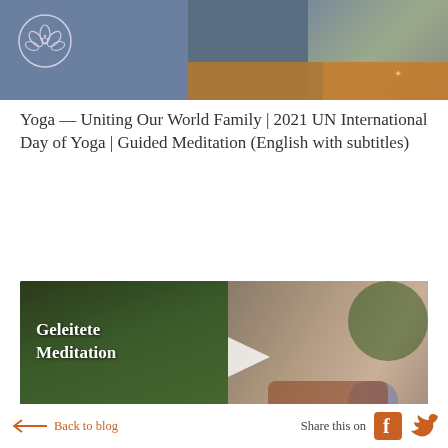World Family
[Figure (screenshot): Video thumbnail with play button showing person in orange top, text 'World Family' visible, blue/slate header bar background]
Yoga — Uniting Our World Family | 2021 UN International Day of Yoga | Guided Meditation (English with subtitles)
[Figure (screenshot): Video thumbnail showing older man with gray hair outdoors, text overlay reads 'Geleitete Meditation' with a play button triangle in the center]
Back to blog
Share this on